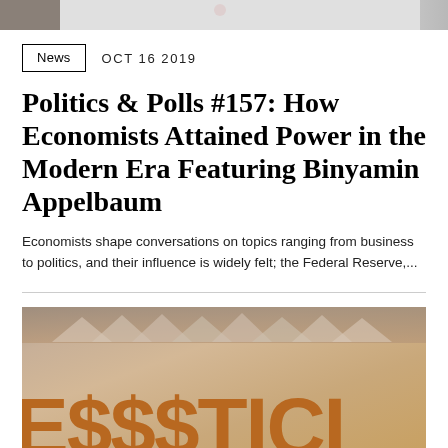[Figure (photo): Partial top image cropped, showing what appears to be a person and a logo with red elements on a white background]
News   OCT 16 2019
Politics & Polls #157: How Economists Attained Power in the Modern Era Featuring Binyamin Appelbaum
Economists shape conversations on topics ranging from business to politics, and their influence is widely felt; the Federal Reserve,...
[Figure (photo): Partial bottom image showing what appears to be house shapes and large text reading dollar sign symbols, cropped at the bottom of the page]